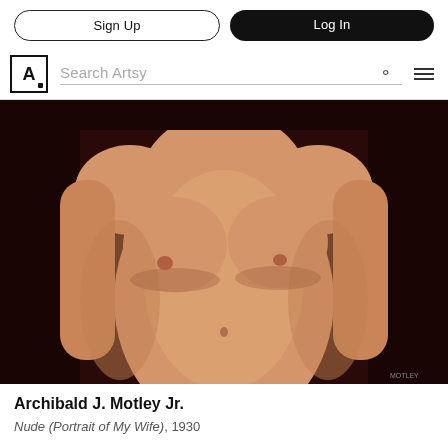Sign Up | Log In
Search Artsy
[Figure (photo): A figurative painting showing the torso of a nude woman against a dark reddish-brown background, cropped at the shoulders and hips. The style is realistic oil painting.]
Archibald J. Motley Jr.
Nude (Portrait of My Wife), 1930